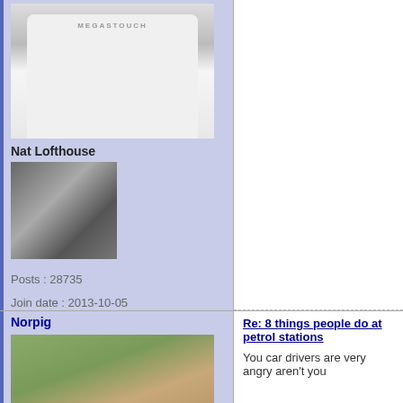[Figure (photo): Torso/body shot of a person wearing a white t-shirt with 'MEGASTOUCH' text, cropped at top]
Nat Lofthouse
[Figure (photo): Small profile photo of a man with short dark hair]
Posts : 28735
Join date : 2013-10-05
Age : 69
Location : Pooh Corner
Norpig
Re: 8 things people do at petrol stations
[Figure (photo): Close-up photo of an older man with grey-streaked dark hair looking stern/angry, outdoors with green background]
You car drivers are very angry aren't you